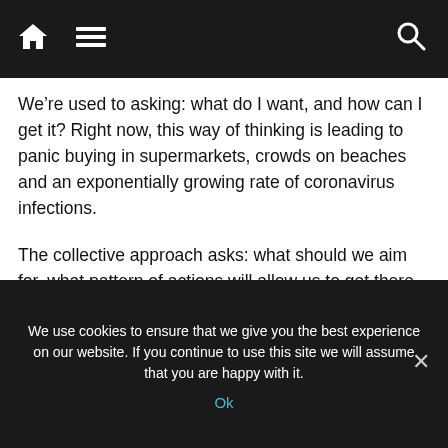Navigation bar with home, menu, and search icons
We’re used to asking: what do I want, and how can I get it? Right now, this way of thinking is leading to panic buying in supermarkets, crowds on beaches and an exponentially growing rate of coronavirus infections.
The collective approach asks: what should we aim for, what pattern of actions will allow us to get there and what’s my individual role in that pattern?
In some places, such as China, the collective pattern can be imposed from the top down, by the
We use cookies to ensure that we give you the best experience on our website. If you continue to use this site we will assume that you are happy with it.